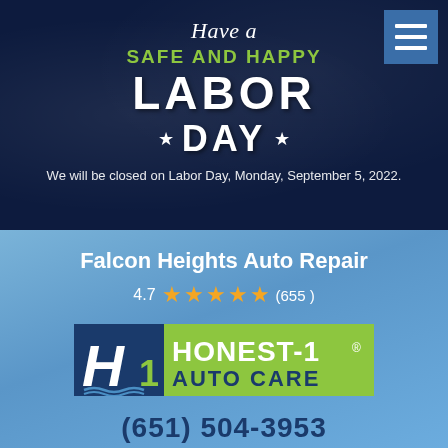[Figure (screenshot): Top dark navy section with Labor Day holiday announcement. Script text 'Have a', green bold text 'SAFE AND HAPPY', large white bold 'LABOR' and '★ DAY ★', with closing notice text below.]
Have a
SAFE AND HAPPY
LABOR DAY
We will be closed on Labor Day, Monday, September 5, 2022.
Falcon Heights Auto Repair
4.7 ★★★★★ (655 )
[Figure (logo): Honest-1 Auto Care logo with blue H and green 1 on left, company name on right]
(651) 504-3953